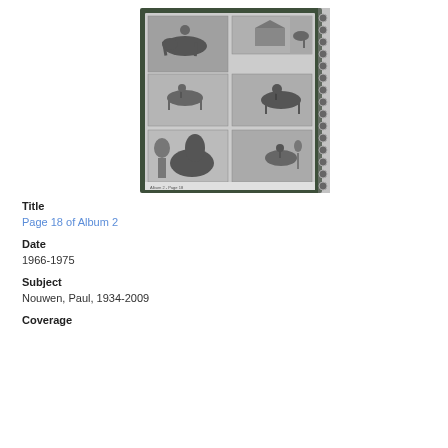[Figure (photo): A photo album page (Page 18 of Album 2) showing six black-and-white photographs of people on horseback and with horses in outdoor rural settings. The album has a dark green cover with a spiral binding on the right side.]
Title
Page 18 of Album 2
Date
1966-1975
Subject
Nouwen, Paul, 1934-2009
Coverage